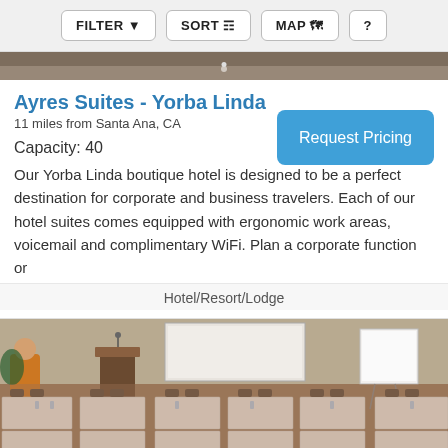FILTER  SORT  MAP  ?
[Figure (photo): Partial top edge of a conference room or hotel interior photo strip]
Ayres Suites - Yorba Linda
11 miles from Santa Ana, CA
Capacity: 40
Request Pricing
Our Yorba Linda boutique hotel is designed to be a perfect destination for corporate and business travelers. Each of our hotel suites comes equipped with ergonomic work areas, voicemail and complimentary WiFi. Plan a corporate function or
Hotel/Resort/Lodge
[Figure (photo): Conference/banquet room with white-clothed rectangular tables, chairs, a lectern with microphone, a projection screen, and a whiteboard on an easel. The room has neutral-colored walls and patterned carpet.]